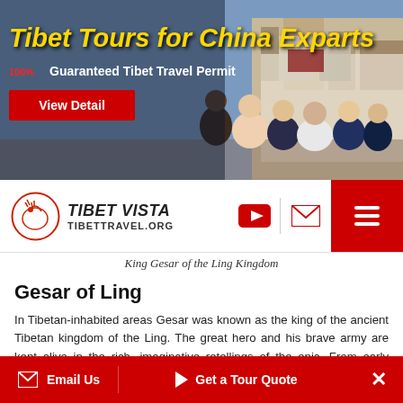[Figure (photo): Tibet Tours banner ad showing group of tourists in front of Potala Palace with text 'Tibet Tours for China Exparts' and '100% Guaranteed Tibet Travel Permit' with a red 'View Detail' button]
[Figure (screenshot): Tibet Vista / TibetTravel.org navigation bar with logo, YouTube icon, email icon, and hamburger menu icon on red background]
King Gesar of the Ling Kingdom
Gesar of Ling
In Tibetan-inhabited areas Gesar was known as the king of the ancient Tibetan kingdom of the Ling. The great hero and his brave army are kept alive in the rich, imaginative retellings of the epic. From early times, the epic was passed on orally. Today, a small number of inscribed woodblocks of the epic can be found in Lhasa, Xigaze and Dege County in Sichuan Province; a few handwritten copies are also dispersed among some families. The Potala Palace
Email Us  Get a Tour Quote  ×